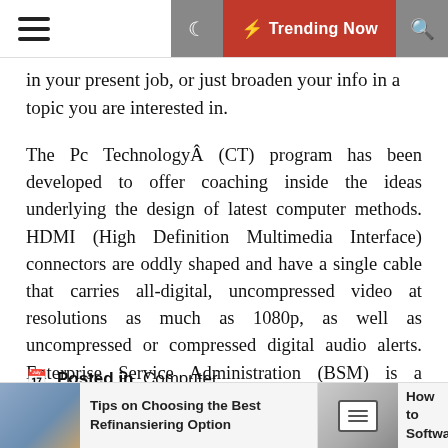Trending Now
in your present job, or just broaden your info in a topic you are interested in.
The Pc TechnologyÂ (CT) program has been developed to offer coaching inside the ideas underlying the design of latest computer methods. HDMI (High Definition Multimedia Interface) connectors are oddly shaped and have a single cable that carries all-digital, uncompressed video at resolutions as much as 1080p, as well as uncompressed or compressed digital audio alerts. Enterprise Service Administration (BSM) is a framework used to promote a purchaser-centric and business-targeted approach to Service Administration, aligning buyer needs, enterprise targets and priorities with IT suppliers and restore provide.
Posted in  Computer
Tagged # basis # examples # regular # technology
Tips on Choosing the Best Refinansiering Option | How to Softwa